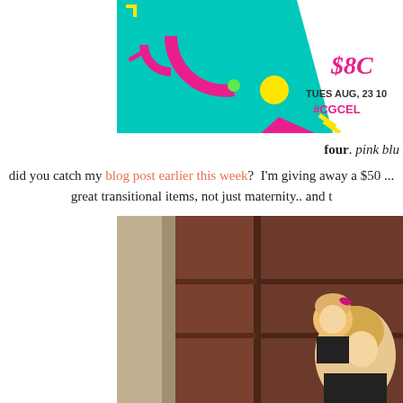[Figure (photo): Colorful retro-style promotional banner with teal background, pink and yellow geometric shapes, text showing 'TUES AUG, 23 10' and '#CGCEL', and '$80' in cursive on white diagonal stripe]
four. pink blu
did you catch my blog post earlier this week?  I'm giving away a $50 ... great transitional items, not just maternity.. and t
[Figure (photo): A woman holding a toddler girl in front of large wooden doors. The woman has blonde hair and is wearing black. The toddler looks upward.]